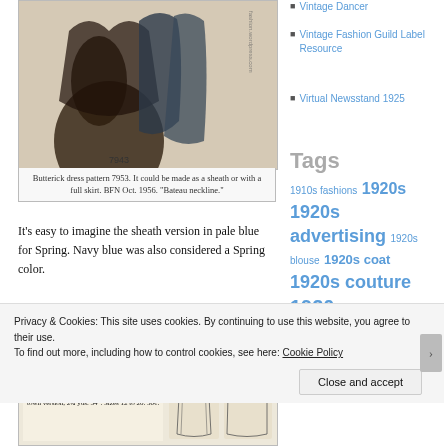[Figure (illustration): Butterick dress pattern illustration showing the skirt/hem area of a dress pattern, numbered 7943]
Butterick dress pattern 7953. It could be made as a sheath or with a full skirt. BFN Oct. 1956. "Bateau neckline."
It's easy to imagine the sheath version in pale blue for Spring. Navy blue was also considered a Spring color.
Vintage Dancer
Vintage Fashion Guild Label Resource
Virtual Newsstand 1925
Tags
1910s fashions 1920s 1920s advertising 1920s blouse 1920s coat 1920s couture 1920s fashions
[Figure (illustration): Butterick pattern 7847 catalog image showing a very slender sheath in ink black with flying panels for evening appearances]
Privacy & Cookies: This site uses cookies. By continuing to use this website, you agree to their use.
To find out more, including how to control cookies, see here: Cookie Policy
Close and accept